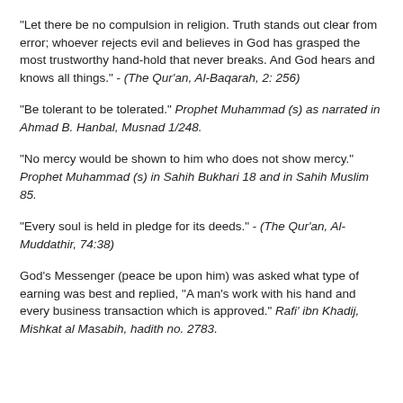"Let there be no compulsion in religion. Truth stands out clear from error; whoever rejects evil and believes in God has grasped the most trustworthy hand-hold that never breaks. And God hears and knows all things." - (The Qur'an, Al-Baqarah, 2: 256)
"Be tolerant to be tolerated." Prophet Muhammad (s) as narrated in Ahmad B. Hanbal, Musnad 1/248.
"No mercy would be shown to him who does not show mercy." Prophet Muhammad (s) in Sahih Bukhari 18 and in Sahih Muslim 85.
"Every soul is held in pledge for its deeds." - (The Qur'an, Al-Muddathir, 74:38)
God's Messenger (peace be upon him) was asked what type of earning was best and replied, "A man's work with his hand and every business transaction which is approved." Rafi' ibn Khadij, Mishkat al Masabih, hadith no. 2783.